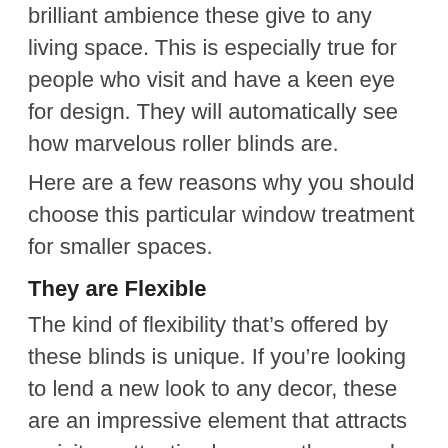brilliant ambience these give to any living space. This is especially true for people who visit and have a keen eye for design. They will automatically see how marvelous roller blinds are.
Here are a few reasons why you should choose this particular window treatment for smaller spaces.
They are Flexible
The kind of flexibility that’s offered by these blinds is unique. If you’re looking to lend a new look to any decor, these are an impressive element that attracts a visitors attention because they can be a centerpiece.
If you are living in a small townhouse, condo or home, you don’t need to do a full remodel to